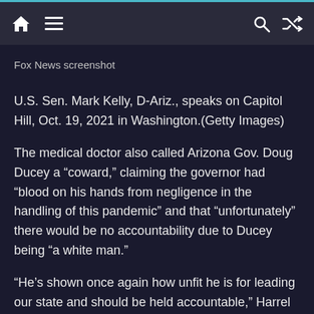Navigation bar with home, menu, search, and shuffle icons
Fox News screenshot
U.S. Sen. Mark Kelly, D-Ariz., speaks on Capitol Hill, Oct. 19, 2021 in Washington.(Getty Images)
The medical doctor also called Arizona Gov. Doug Ducey a “coward,” claiming the governor had “blood on his hands from negligence in the handling of this pandemic” and that “unfortunately” there would be no accountability due to Ducey being “a white man.”
“He’s shown once again how unfit he is for leading our state and should be held accountable,” Harrel wrote in July of last year. “But unfortunately, he is